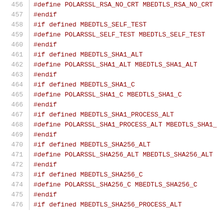456  #define POLARSSL_RSA_NO_CRT MBEDTLS_RSA_NO_CRT
457  #endif
458  #if defined MBEDTLS_SELF_TEST
459  #define POLARSSL_SELF_TEST MBEDTLS_SELF_TEST
460  #endif
461  #if defined MBEDTLS_SHA1_ALT
462  #define POLARSSL_SHA1_ALT MBEDTLS_SHA1_ALT
463  #endif
464  #if defined MBEDTLS_SHA1_C
465  #define POLARSSL_SHA1_C MBEDTLS_SHA1_C
466  #endif
467  #if defined MBEDTLS_SHA1_PROCESS_ALT
468  #define POLARSSL_SHA1_PROCESS_ALT MBEDTLS_SHA1_
469  #endif
470  #if defined MBEDTLS_SHA256_ALT
471  #define POLARSSL_SHA256_ALT MBEDTLS_SHA256_ALT
472  #endif
473  #if defined MBEDTLS_SHA256_C
474  #define POLARSSL_SHA256_C MBEDTLS_SHA256_C
475  #endif
476  #if defined MBEDTLS_SHA256_PROCESS_ALT